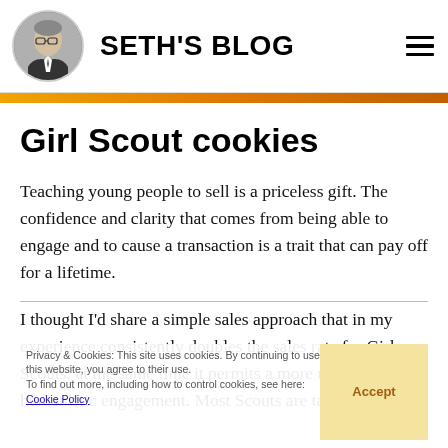SETH'S BLOG
Girl Scout cookies
Teaching young people to sell is a priceless gift. The confidence and clarity that comes from being able to engage and to cause a transaction is a trait that can pay off for a lifetime.
I thought I'd share a simple sales approach that in my experience consistently doubles the sales rate for Girl Scouts, at the same time it permits a more natural, humanistic engagement. Most Scouts are taught to
Privacy & Cookies: This site uses cookies. By continuing to use this website, you agree to their use. To find out more, including how to control cookies, see here: Cookie Policy